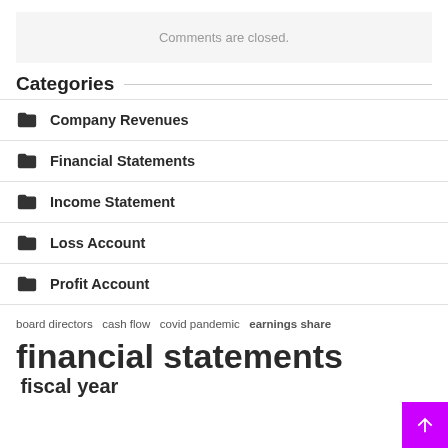Comments are closed.
Categories
Company Revenues
Financial Statements
Income Statement
Loss Account
Profit Account
board directors  cash flow  covid pandemic  earnings share
financial statements  fiscal year